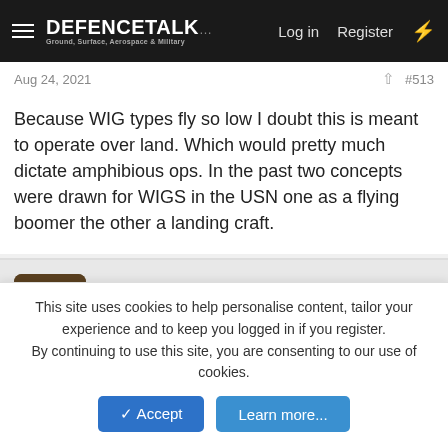DEFENCETALK — Log in  Register
Aug 24, 2021  #513
Because WIG types fly so low I doubt this is meant to operate over land. Which would pretty much dictate amphibious ops. In the past two concepts were drawn for WIGS in the USN one as a flying boomer the other a landing craft.
FormerDirtDart
Well-Known Member
Aug 25, 2021  #514
Terran said: ↑
This site uses cookies to help personalise content, tailor your experience and to keep you logged in if you register.
By continuing to use this site, you are consenting to our use of cookies.
✓ Accept   Learn more...